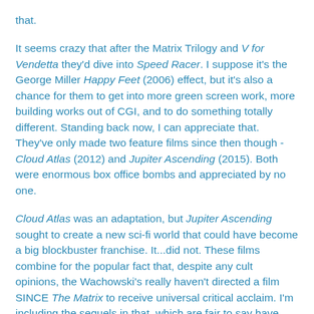that.
It seems crazy that after the Matrix Trilogy and V for Vendetta they'd dive into Speed Racer. I suppose it's the George Miller Happy Feet (2006) effect, but it's also a chance for them to get into more green screen work, more building works out of CGI, and to do something totally different. Standing back now, I can appreciate that. They've only made two feature films since then though - Cloud Atlas (2012) and Jupiter Ascending (2015). Both were enormous box office bombs and appreciated by no one.
Cloud Atlas was an adaptation, but Jupiter Ascending sought to create a new sci-fi world that could have become a big blockbuster franchise. It...did not. These films combine for the popular fact that, despite any cult opinions, the Wachowski's really haven't directed a film SINCE The Matrix to receive universal critical acclaim. I'm including the sequels in that, which are fair to say have also been reviled. It must be hard to make a game-changing film and not be able to follow it up for like twenty years.